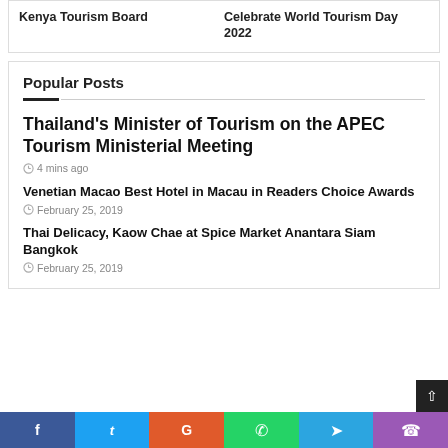Kenya Tourism Board
Celebrate World Tourism Day 2022
Popular Posts
Thailand's Minister of Tourism on the APEC Tourism Ministerial Meeting
4 mins ago
Venetian Macao Best Hotel in Macau in Readers Choice Awards
February 25, 2019
Thai Delicacy, Kaow Chae at Spice Market Anantara Siam Bangkok
February 25, 2019
f  t  G  WhatsApp  Telegram  Phone